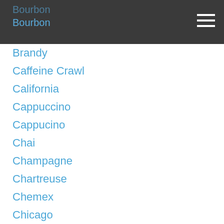Bourbon
Bourbon
Brandy
Caffeine Crawl
California
Cappuccino
Cappucino
Chai
Champagne
Chartreuse
Chemex
Chicago
Chocolate
Cider
Cocktail
Cocktails
Coffee
Cognac
Cold Brew